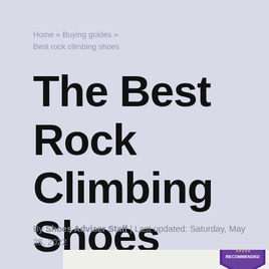Home » Buying guides » Best rock climbing shoes
The Best Rock Climbing Shoes
By Shoes Adviser Staff | Last updated: Saturday, May 28, 2022
[Figure (photo): Rock climbing shoes product image with SA Recommended badge in bottom right]